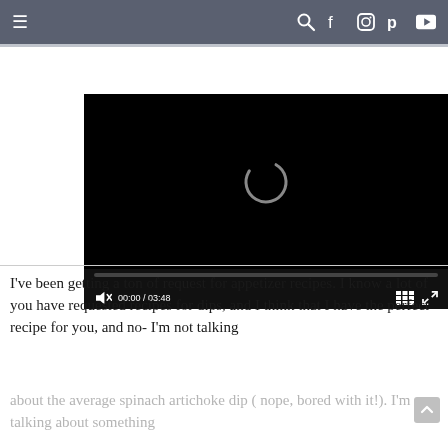≡  🔍 f 📷 p ▶
[Figure (screenshot): Embedded video player showing a black screen with a loading spinner (partial circle). Controls show muted speaker icon, time 00:00 / 03:48, grid icon, and fullscreen icon.]
I've been getting a ton of request for appetizer recipes. I know a lot of you have requested recipes for dips, and I think that I have the perfect recipe for you, and no- I'm not talking about the average spinach artichoke dip ( nope, bored with it!). I'm talking about something